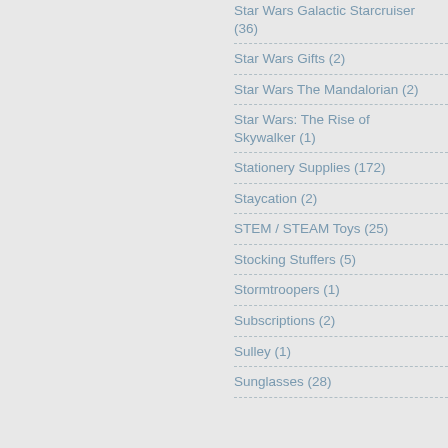Star Wars Galactic Starcruiser (36)
Star Wars Gifts (2)
Star Wars The Mandalorian (2)
Star Wars: The Rise of Skywalker (1)
Stationery Supplies (172)
Staycation (2)
STEM / STEAM Toys (25)
Stocking Stuffers (5)
Stormtroopers (1)
Subscriptions (2)
Sulley (1)
Sunglasses (28)